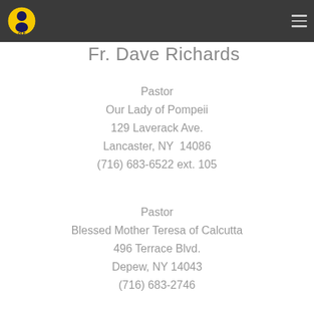Fr. Dave Richards
Pastor
Our Lady of Pompeii
129 Laverack Ave.
Lancaster, NY  14086
(716) 683-6522 ext. 105
Pastor
Blessed Mother Teresa of Calcutta
496 Terrace Blvd.
Depew, NY 14043
(716) 683-2746